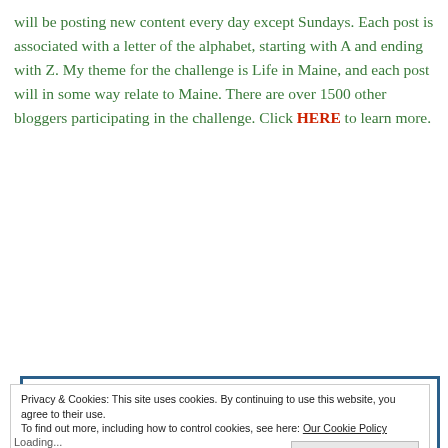will be posting new content every day except Sundays. Each post is associated with a letter of the alphabet, starting with A and ending with Z. My theme for the challenge is Life in Maine, and each post will in some way relate to Maine. There are over 1500 other bloggers participating in the challenge. Click HERE to learn more.
[Figure (illustration): Banner with decorative bracket border, a photo of a wooden boardwalk/dock leading to water with autumn foliage, and text reading 'Until the next adventure... so long and enjoy your Weekends in Maine' with social media handle @weekendsinmaine]
Privacy & Cookies: This site uses cookies. By continuing to use this website, you agree to their use. To find out more, including how to control cookies, see here: Our Cookie Policy